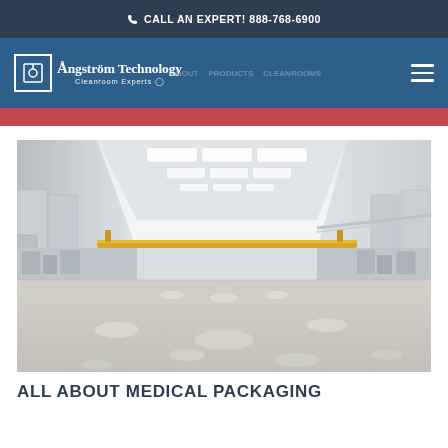CALL AN EXPERT! 888-768-6900
[Figure (logo): Ångström Technology Cleanroom Experts logo — white text with bordered A letter mark on dark blue navigation bar]
[Figure (photo): Wide-angle interior photograph of a large cleanroom facility with white walls, polished reflective concrete floor, recessed fluorescent ceiling lights, yellow overhead crane/rail, and cleanroom equipment along the walls]
ALL ABOUT MEDICAL PACKAGING